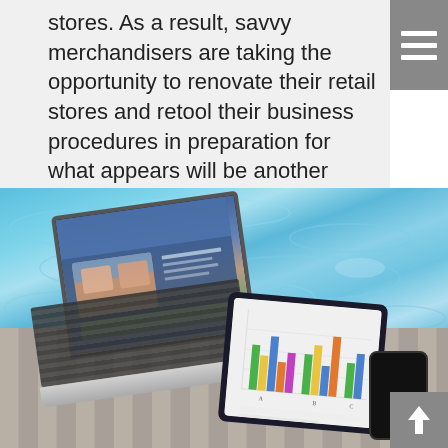stores. As a result, savvy merchandisers are taking the opportunity to renovate their retail stores and retool their business procedures in preparation for what appears will be another busy year.
[Figure (photo): A laptop computer and a tablet device placed on a wooden deck beside a blue swimming pool. The laptop displays a website, and the tablet shows a colorful bar chart. A smartphone is visible next to the tablet.]